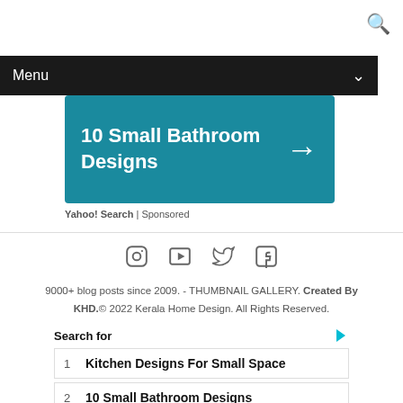[Figure (screenshot): Search icon (magnifying glass) in top right corner]
Menu
[Figure (screenshot): Teal ad banner showing '10 Small Bathroom Designs' with right arrow]
Yahoo! Search | Sponsored
[Figure (infographic): Social media icons: Instagram, YouTube, Twitter, Facebook]
9000+ blog posts since 2009. - THUMBNAIL GALLERY. Created By KHD.© 2022 Kerala Home Design. All Rights Reserved.
Search for
1  Kitchen Designs For Small Space
2  10 Small Bathroom Designs
Yahoo! Search | Sponsored